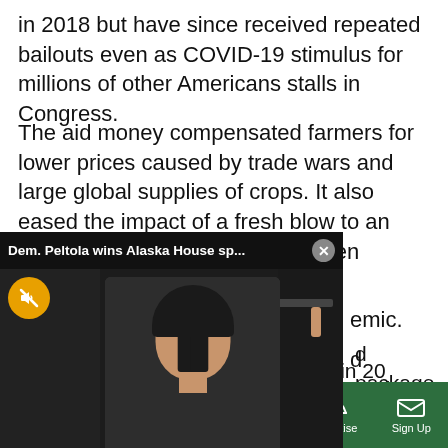in 2018 but have since received repeated bailouts even as COVID-19 stimulus for millions of other Americans stalls in Congress.
The aid money compensated farmers for lower prices caused by trade wars and large global supplies of crops. It also eased the impact of a fresh blow to an already-weak ethanol market when Americans drove less during the pandemic.
[Figure (screenshot): Video popup overlay titled 'Dem. Peltola wins Alaska House sp...' with a close button (x), showing a woman in a dark jacket against a blurred indoor background, with a muted (orange) button in the lower left of the video.]
...d package announced ...payments to farmers ...1.2 billion this year. ...rs' net cash income will also rise to 32.7%, the biggest in 20 years.
Sections | NY Edition | Philly | Games | Advertise | Sign Up